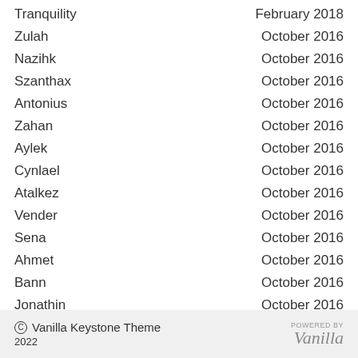Tranquility	February 2018
Zulah	October 2016
Nazihk	October 2016
Szanthax	October 2016
Antonius	October 2016
Zahan	October 2016
Aylek	October 2016
Cynlael	October 2016
Atalkez	October 2016
Vender	October 2016
Sena	October 2016
Ahmet	October 2016
Bann	October 2016
Jonathin	October 2016
© Vanilla Keystone Theme 2022 POWERED BY Vanilla